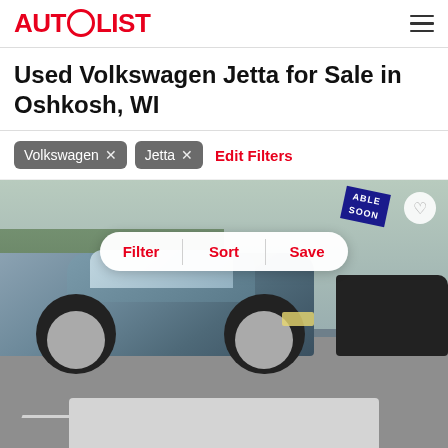AUTOLIST
Used Volkswagen Jetta for Sale in Oshkosh, WI
Volkswagen ×
Jetta ×
Edit Filters
[Figure (photo): Used Volkswagen Jetta (gray/blue sedan) parked in a lot, with an 'AVAILABLE SOON' banner visible on another car in the background. Overlaid UI shows Filter, Sort, Save action buttons and a heart/save icon.]